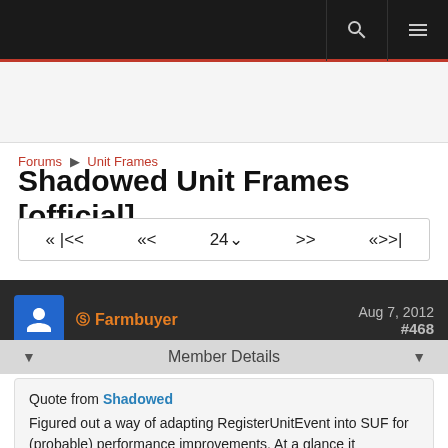Forums ▶ Unit Frames
Shadowed Unit Frames [official]
« |<< «< 24∨ >> «>>|
S Farmbuyer  Aug 7, 2012  #468
Member Details
Quote from Shadowed
Figured out a way of adapting RegisterUnitEvent into SUF for (probable) performance improvements. At a glance it